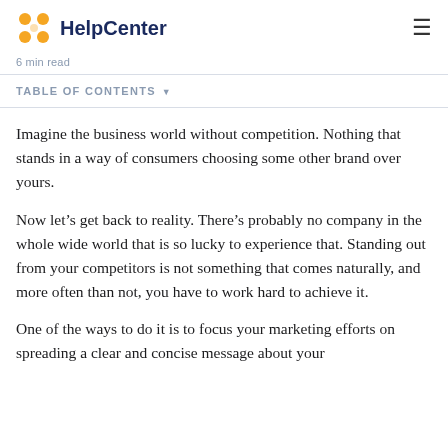HelpCenter
6 min read
TABLE OF CONTENTS
Imagine the business world without competition. Nothing that stands in a way of consumers choosing some other brand over yours.
Now let’s get back to reality. There’s probably no company in the whole wide world that is so lucky to experience that. Standing out from your competitors is not something that comes naturally, and more often than not, you have to work hard to achieve it.
One of the ways to do it is to focus your marketing efforts on spreading a clear and concise message about your